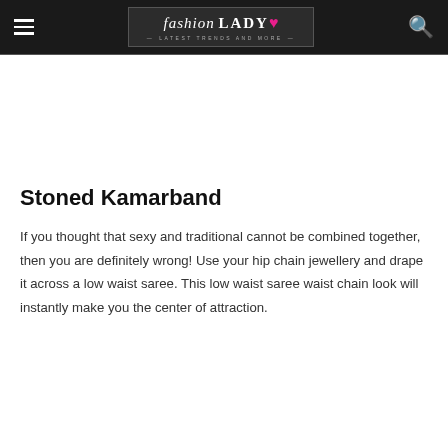fashion LADY — Latest Trends and More
Stoned Kamarband
If you thought that sexy and traditional cannot be combined together, then you are definitely wrong! Use your hip chain jewellery and drape it across a low waist saree. This low waist saree waist chain look will instantly make you the center of attraction.